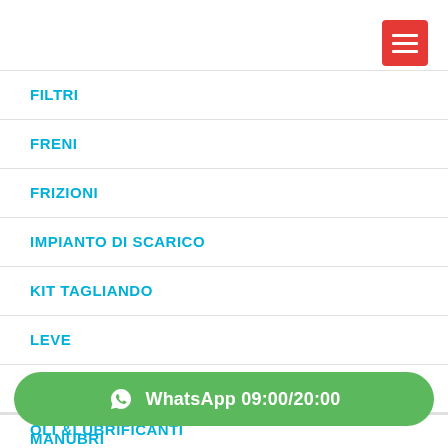[Figure (other): Red hamburger menu button in top right corner]
FILTRI
FRENI
FRIZIONI
IMPIANTO DI SCARICO
KIT TAGLIANDO
LEVE
MANOPOLE
MANUBRI
OLI &LUBRIFICANTI
WhatsApp 09:00/20:00